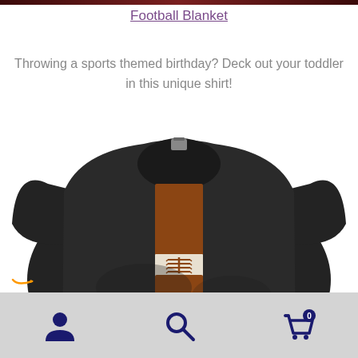Football Blanket
Throwing a sports themed birthday? Deck out your toddler in this unique shirt!
[Figure (photo): Black toddler t-shirt with football design showing brown leather and white laces stripe down the center]
Navigation bar with user account icon, search icon, and shopping cart with badge showing 0